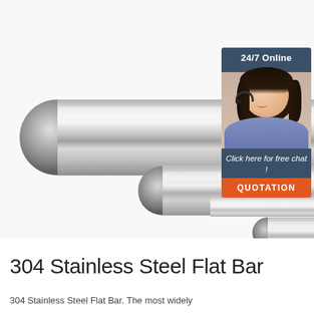[Figure (photo): Product photo of multiple stainless steel round bars/rods arranged diagonally, polished chrome finish, with a customer service chat widget overlay in top right corner showing a female representative with headset, '24/7 Online' header, 'Click here for free chat!' text, and an orange 'QUOTATION' button. A 'TOP' badge logo appears over the title.]
304 Stainless Steel Flat Bar
304 Stainless Steel Flat Bar. The most widely